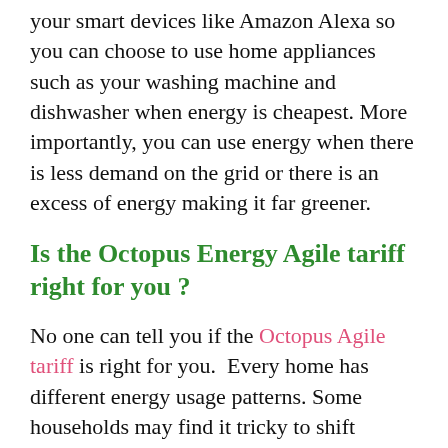your smart devices like Amazon Alexa so you can choose to use home appliances such as your washing machine and dishwasher when energy is cheapest. More importantly, you can use energy when there is less demand on the grid or there is an excess of energy making it far greener.
Is the Octopus Energy Agile tariff right for you?
No one can tell you if the Octopus Agile tariff is right for you. Every home has different energy usage patterns. Some households may find it tricky to shift energy usage away from peak times. You may simply have to prepare meals during these times. However, you may have a variety of appliances that you could use when there is less demand on the national grid to